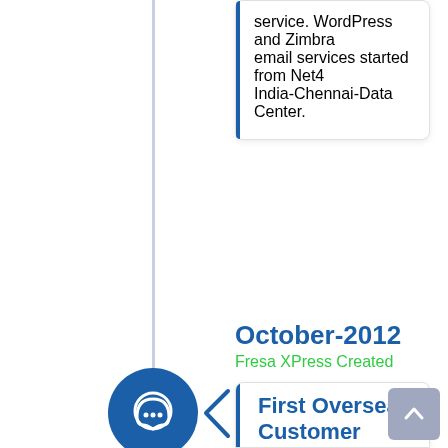service. WordPress and Zimbra email services started from Net4 India-Chennai-Data Center.
October-2012
Fresa XPress Created
First Overseas Customer
First overseas customers in Qatar, Saudi Arabia and Dubai. Web XPress created in Apex to develop dynamic websites for customer. After successful 30 websites shifted…